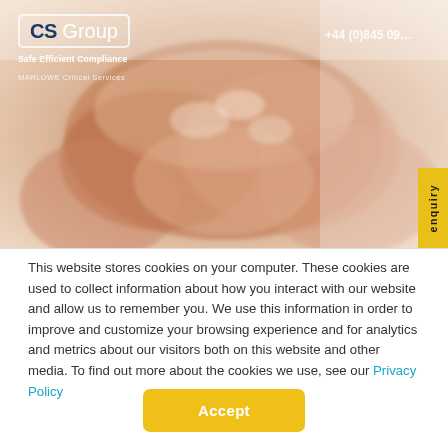[Figure (photo): Website header photo showing multiple hands stacked together (teamwork gesture), with CS Group logo overlay and phone number. A yellow 'enquiry' tab is on the right edge.]
This website stores cookies on your computer. These cookies are used to collect information about how you interact with our website and allow us to remember you. We use this information in order to improve and customize your browsing experience and for analytics and metrics about our visitors both on this website and other media. To find out more about the cookies we use, see our Privacy Policy
Accept